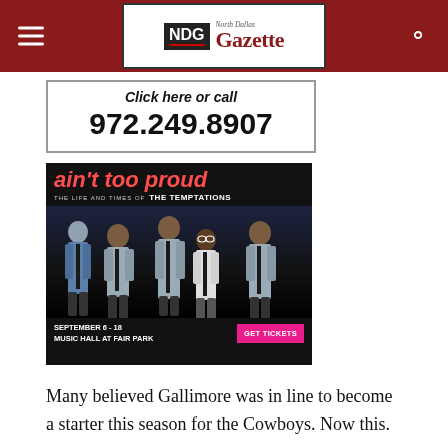North Dallas Gazette - NDG
Click here or call
972.249.8907
[Figure (photo): Advertisement for 'ain't too proud – The Life and Times of The Temptations' musical show. Features five performers in suits on a dark background. Shows dates September 6-18 at Music Hall at Fair Park with a GET TICKETS button.]
Many believed Gallimore was in line to become a starter this season for the Cowboys. Now this.